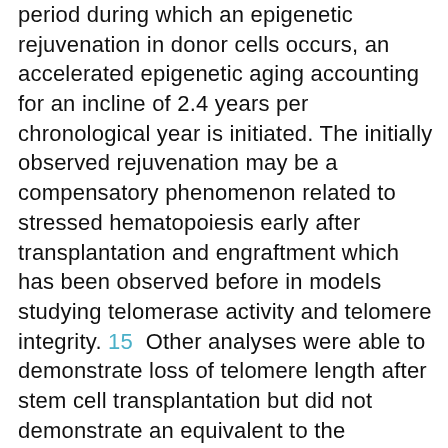period during which an epigenetic rejuvenation in donor cells occurs, an accelerated epigenetic aging accounting for an incline of 2.4 years per chronological year is initiated. The initially observed rejuvenation may be a compensatory phenomenon related to stressed hematopoiesis early after transplantation and engraftment which has been observed before in models studying telomerase activity and telomere integrity. 15  Other analyses were able to demonstrate loss of telomere length after stem cell transplantation but did not demonstrate an equivalent to the rejuvenation seen when using the “epigenetic clock” method used here. Furthermore, they showed a random degree of telomere loss within the first year after transplantation and postulated that this phenomenon might occur only within the first year after transplantation. Thornley et al. even implied that telomere loss after allogeneic transplantation is